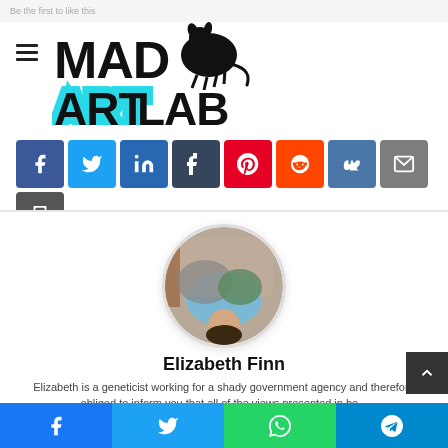Be the first to like this
[Figure (logo): Mad Art Lab logo with stylized text and rat silhouette]
[Figure (infographic): Row of social share buttons: Facebook, Twitter, LinkedIn, Tumblr, Pinterest, Reddit, VK, Email, Print]
[Figure (photo): Circular profile photo of Elizabeth Finn lying upside down on a couch wearing blue]
Elizabeth Finn
Elizabeth is a geneticist working for a shady government agency and therefore obliged to inform you that all of the views presented in he...
[Figure (infographic): Bottom fixed bar with Facebook, Twitter, WhatsApp, Telegram share buttons]